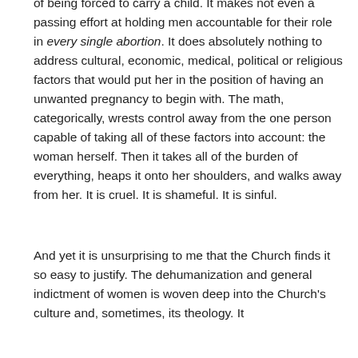of being forced to carry a child. It makes not even a passing effort at holding men accountable for their role in every single abortion. It does absolutely nothing to address cultural, economic, medical, political or religious factors that would put her in the position of having an unwanted pregnancy to begin with. The math, categorically, wrests control away from the one person capable of taking all of these factors into account: the woman herself. Then it takes all of the burden of everything, heaps it onto her shoulders, and walks away from her. It is cruel. It is shameful. It is sinful.
And yet it is unsurprising to me that the Church finds it so easy to justify. The dehumanization and general indictment of women is woven deep into the Church's culture and, sometimes, its theology. It